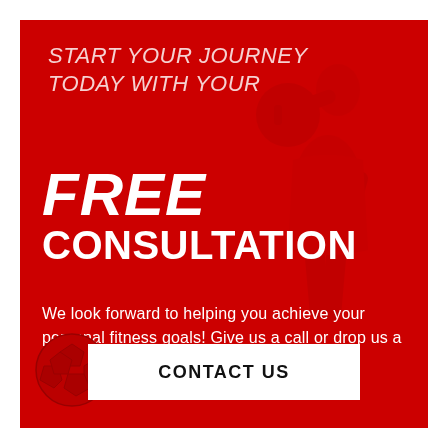START YOUR JOURNEY TODAY WITH YOUR
FREE CONSULTATION
We look forward to helping you achieve your personal fitness goals! Give us a call or drop us a note!
[Figure (illustration): Fitness woman silhouette holding a dumbbell, overlaid on red background]
[Figure (illustration): Soccer ball decoration in bottom left corner]
CONTACT US